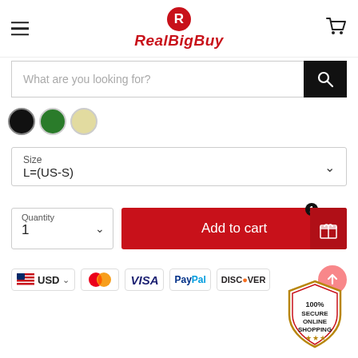[Figure (logo): RealBigBuy logo with red circle R and red italic bold text RealBigBuy]
What are you looking for?
[Figure (illustration): Three color swatches: black, green, yellow/cream circles]
Size
L=(US-S)
Quantity
1
Add to cart
[Figure (infographic): Payment options: USD flag, MasterCard, VISA, PayPal, Discover]
[Figure (illustration): 100% Secure Online Shopping shield badge]